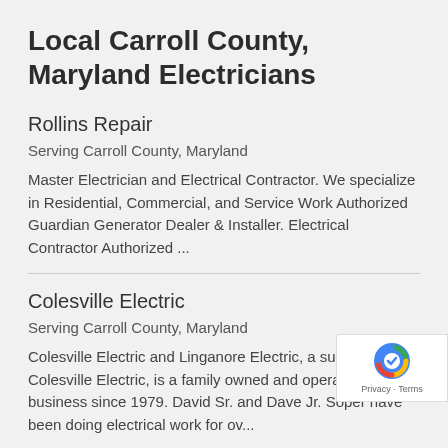Local Carroll County, Maryland Electricians
Rollins Repair
Serving Carroll County, Maryland
Master Electrician and Electrical Contractor. We specialize in Residential, Commercial, and Service Work Authorized Guardian Generator Dealer & Installer. Electrical Contractor Authorized ...
Colesville Electric
Serving Carroll County, Maryland
Colesville Electric and Linganore Electric, a subsidiary of Colesville Electric, is a family owned and operated business since 1979. David Sr. and Dave Jr. Soper have been doing electrical work for ov...
Silco Electric
Serving Carroll County, Maryland